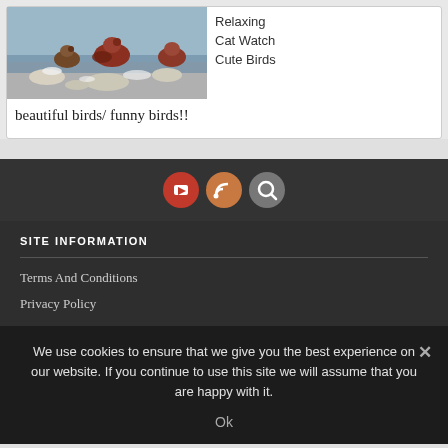[Figure (photo): Photo of birds (colorful birds, possibly finches or similar) on rocky ground with a body of water in background]
Relaxing Cat Watch Cute Birds
beautiful birds/ funny birds!!
[Figure (other): Social media icon buttons: YouTube (red circle), RSS (orange circle), Search (gray circle)]
SITE INFORMATION
Terms And Conditions
Privacy Policy
We use cookies to ensure that we give you the best experience on our website. If you continue to use this site we will assume that you are happy with it.
Ok